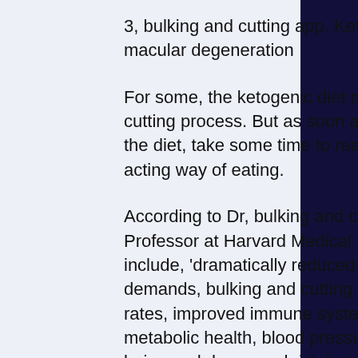3, bulking and cutting app. Ketogenic diet to reverse age-related macular degeneration
For some, the ketogenic diet may seem complicated, bulking and cutting process. But as soon as you make up your mind to switch to the diet, take some time to read up on the benefits of this fast-acting way of eating.
According to Dr, bulking and cutting for females. John McDougall, Professor at Harvard Medical School, the benefits of the diet include, 'dramatically reduced hunger, sleepiness and energy demands, bulking and cutting for females. Increased fat burning rates, improved immune systems, increased mitochondrial density, metabolic health, blood pressure reduction, a general sense of well-being and decreased risk factor formation due to a decrease in